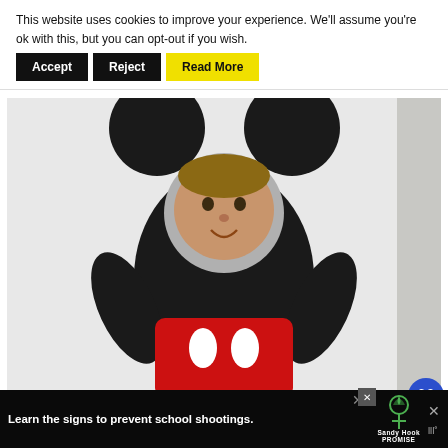This website uses cookies to improve your experience. We’ll assume you’re ok with this, but you can opt-out if you wish.
Accept
Reject
Read More
[Figure (photo): A child's face peeking through a Mickey Mouse character photo-op cutout board. The board shows Mickey Mouse in his classic pose with black outfit and red shorts with white buttons. The child's face is visible through the circular cutout where Mickey's face would be.]
WHAT’S NEXT → Minnie & Mickey Mou...
Learn the signs to prevent school shootings.